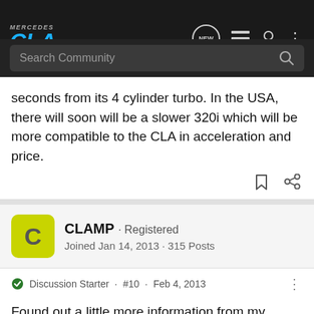[Figure (screenshot): Mercedes CLA .org website logo and navigation bar with search field]
seconds from its 4 cylinder turbo. In the USA, there will soon will be a slower 320i which will be more compatible to the CLA in acceleration and price.
CLAMP · Registered
Joined Jan 14, 2013 · 315 Posts
Discussion Starter · #10 · Feb 4, 2013
Found out a little more information from my contact at Mercedes Benz Canada regarding the CLA. I asked a few questions and the response is included.